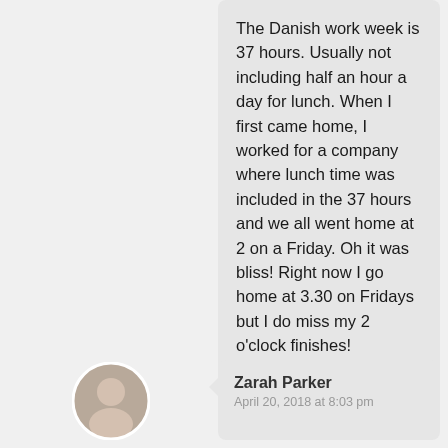The Danish work week is 37 hours. Usually not including half an hour a day for lunch. When I first came home, I worked for a company where lunch time was included in the 37 hours and we all went home at 2 on a Friday. Oh it was bliss! Right now I go home at 3.30 on Fridays but I do miss my 2 o'clock finishes!
Liked by 1 person
Reply
Zarah Parker
April 20, 2018 at 8:03 pm